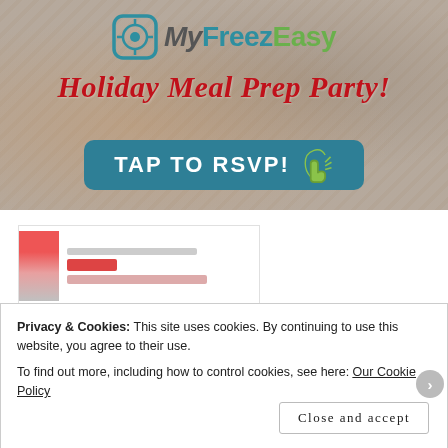[Figure (screenshot): MyFreezEasy website banner with food prep background image, logo, holiday title, and RSVP button]
Holiday Meal Prep Party!
[Figure (screenshot): Partial content card with thumbnail image]
Privacy & Cookies: This site uses cookies. By continuing to use this website, you agree to their use.
To find out more, including how to control cookies, see here: Our Cookie Policy
Close and accept